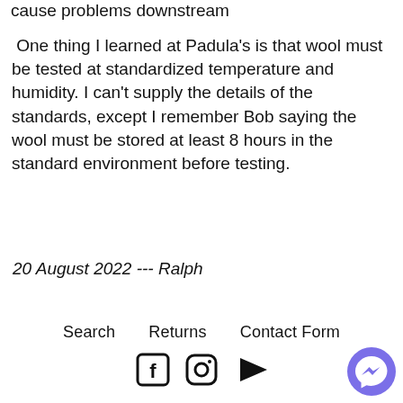cause problems downstream
One thing I learned at Padula's is that wool must be tested at standardized temperature and humidity. I can't supply the details of the standards, except I remember Bob saying the wool must be stored at least 8 hours in the standard environment before testing.
20 August 2022 --- Ralph
Search   Returns   Contact Form